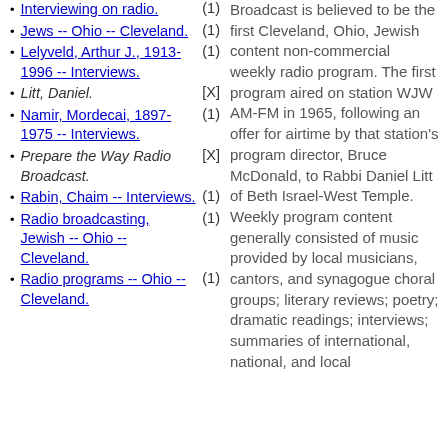Interviewing on radio. (1)
Jews -- Ohio -- Cleveland. (1)
Lelyveld, Arthur J., 1913-1996 -- Interviews. (1)
Litt, Daniel. [X]
Namir, Mordecai, 1897-1975 -- Interviews. (1)
Prepare the Way Radio Broadcast. [X]
Rabin, Chaim -- Interviews. (1)
Radio broadcasting, Jewish -- Ohio -- Cleveland. (1)
Radio programs -- Ohio -- Cleveland. (1)
Broadcast is believed to be the first Cleveland, Ohio, Jewish content non-commercial weekly radio program. The first program aired on station WJW AM-FM in 1965, following an offer for airtime by that station's program director, Bruce McDonald, to Rabbi Daniel Litt of Beth Israel-West Temple. Weekly program content generally consisted of music provided by local musicians, cantors, and synagogue choral groups; literary reviews; poetry; dramatic readings; interviews; summaries of international, national, and local